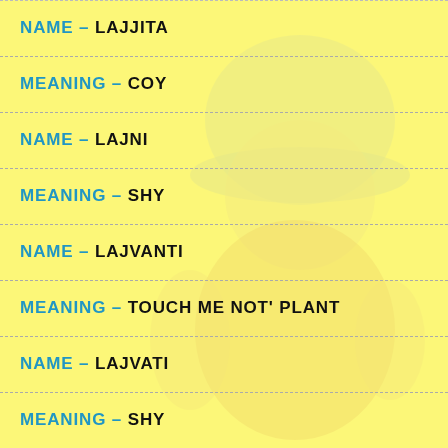NAME – LAJJITA
MEANING – COY
NAME – LAJNI
MEANING – SHY
NAME – LAJVANTI
MEANING – TOUCH ME NOT' PLANT
NAME – LAJVATI
MEANING – SHY